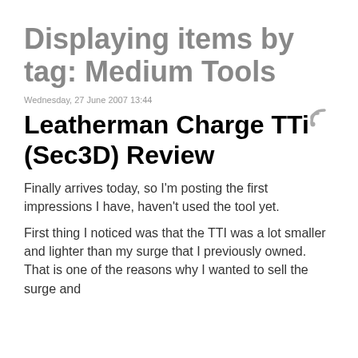Displaying items by tag: Medium Tools
[Figure (other): RSS feed icon]
Wednesday, 27 June 2007 13:44
Leatherman Charge TTi (Sec3D) Review
Finally arrives today, so I'm posting the first impressions I have, haven't used the tool yet.
First thing I noticed was that the TTI was a lot smaller and lighter than my surge that I previously owned. That is one of the reasons why I wanted to sell the surge and